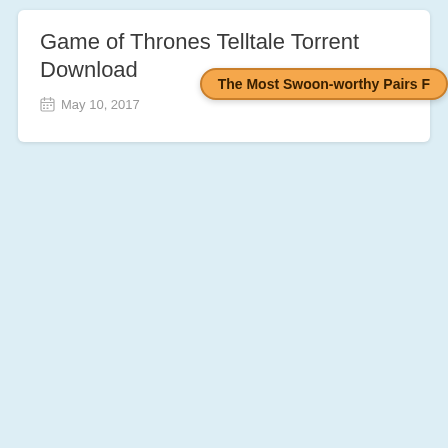Game of Thrones Telltale Torrent Download
May 10, 2017
The Most Swoon-worthy Pairs F